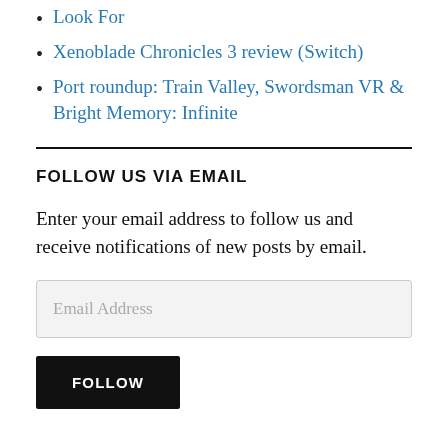Look For
Xenoblade Chronicles 3 review (Switch)
Port roundup: Train Valley, Swordsman VR & Bright Memory: Infinite
FOLLOW US VIA EMAIL
Enter your email address to follow us and receive notifications of new posts by email.
Email Address
FOLLOW